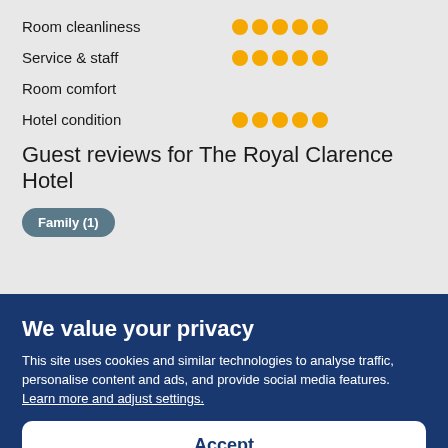Room cleanliness ●●●●●
Service & staff ●●●●●
Room comfort
Hotel condition ●●●●●
Guest reviews for The Royal Clarence Hotel
Family (1)
We value your privacy
This site uses cookies and similar technologies to analyse traffic, personalise content and ads, and provide social media features. Learn more and adjust settings.
Accept